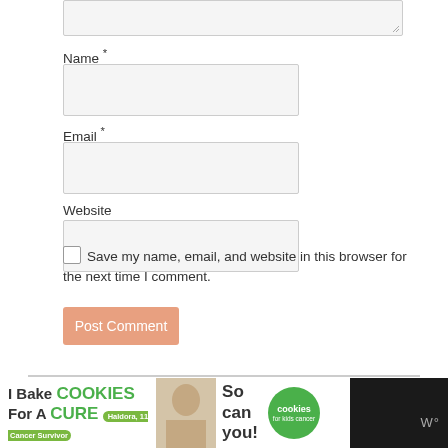Name *
Email *
Website
Save my name, email, and website in this browser for the next time I comment.
Post Comment
[Figure (screenshot): Comment form section with Name, Email, Website fields, a checkbox for saving info, and a Post Comment button. Below is a horizontal separator and the beginning of a related post thumbnail. At the bottom is a cookie-themed advertisement banner.]